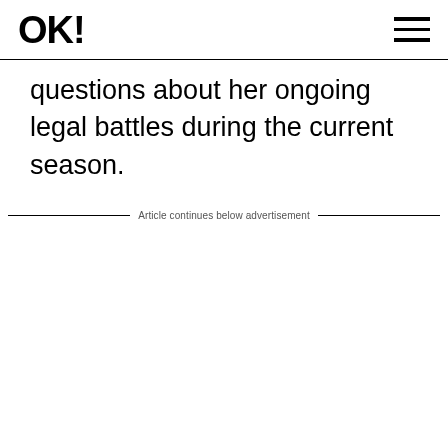OK!
questions about her ongoing legal battles during the current season.
Article continues below advertisement